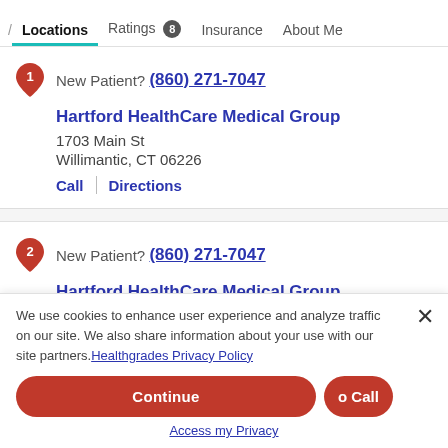/ Locations  Ratings 8  Insurance  About Me
New Patient? (860) 271-7047
Hartford HealthCare Medical Group
1703 Main St
Willimantic, CT 06226
Call | Directions
New Patient? (860) 271-7047
Hartford HealthCare Medical Group
We use cookies to enhance user experience and analyze traffic on our site. We also share information about your use with our site partners. Healthgrades Privacy Policy
Continue
o Call
Access my Privacy